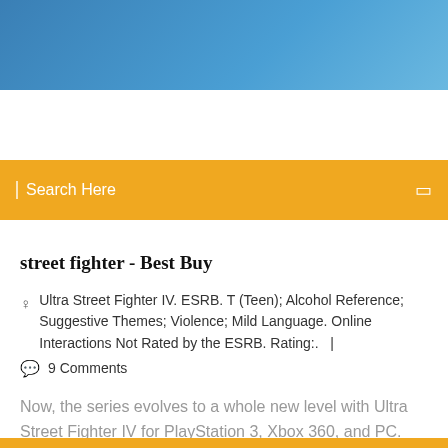[Figure (photo): Blue gradient header banner background]
Search Here
street fighter - Best Buy
Ultra Street Fighter IV. ESRB. T (Teen); Alcohol Reference; Suggestive Themes; Violence; Mild Language. Online Interactions Not Rated by the ESRB. Rating:.  |
9 Comments
Now, the series evolves to a whole new level with Ultra Street Fighter IV for PlayStation 3, Xbox 360, and PC. Continuing the tradition of excellence the series is